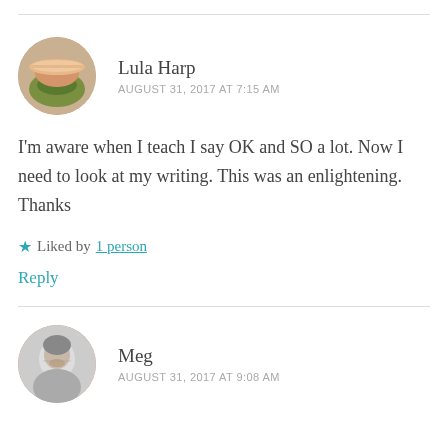[Figure (photo): Circular avatar of Lula Harp showing a cocktail drink in a coupe glass with a green garnish]
Lula Harp
AUGUST 31, 2017 AT 7:15 AM
I'm aware when I teach I say OK and SO a lot. Now I need to look at my writing. This was an enlightening. Thanks
★ Liked by 1 person
Reply
[Figure (photo): Circular avatar of Meg showing a black and white photo of a woman's face]
Meg
AUGUST 31, 2017 AT 9:08 AM